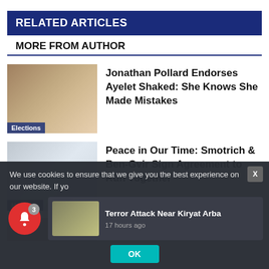RELATED ARTICLES
MORE FROM AUTHOR
[Figure (photo): Photo of elderly man waving, wearing hat, with Elections label]
Jonathan Pollard Endorses Ayelet Shaked: She Knows She Made Mistakes
[Figure (photo): Photo of two men in suits, Headline label]
Peace in Our Time: Smotrich & Ben-Gvir Sign Agreement to Run Together
[Figure (photo): Partially visible third article thumbnail]
We use cookies to ensure that we give you the best experience on our website. If yo
[Figure (photo): Terror attack news push notification thumbnail]
Terror Attack Near Kiryat Arba
17 hours ago